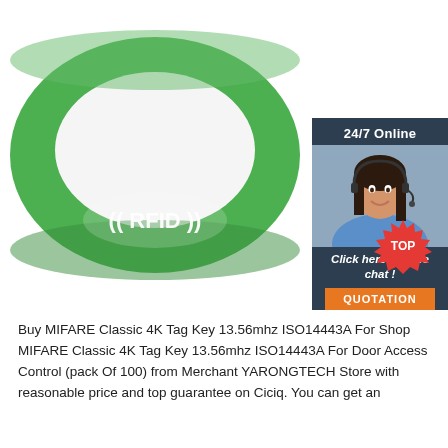[Figure (photo): Green RFID silicone wristband with white RFID logo text, oval shape, displayed on white background. Overlaid in top-right corner is a customer support chat widget showing a woman with a headset, '24/7 Online' header, 'Click here for free chat!' text, and an orange QUOTATION button. A red/orange TOP badge appears bottom-right of the product image.]
Buy MIFARE Classic 4K Tag Key 13.56mhz ISO14443A For Shop MIFARE Classic 4K Tag Key 13.56mhz ISO14443A For Door Access Control (pack Of 100) from Merchant YARONGTECH Store with reasonable price and top guarantee on Ciciq. You can get an